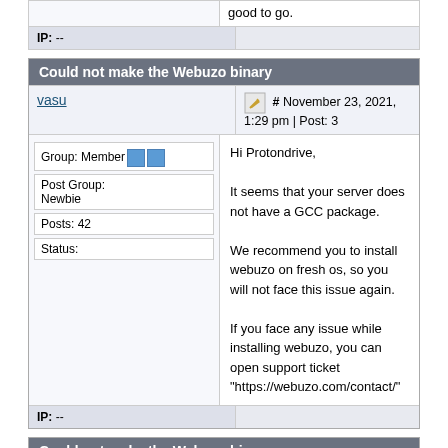good to go.
IP: --
Could not make the Webuzo binary
vasu  # November 23, 2021, 1:29 pm | Post: 3
Group: Member
Post Group: Newbie
Posts: 42
Status:
Hi Protondrive,

It seems that your server does not have a GCC package.

We recommend you to install webuzo on fresh os, so you will not face this issue again.

If you face any issue while installing webuzo, you can open support ticket "https://webuzo.com/contact/"
IP: --
Could not make the Webuzo binary
cryptobobber  # December 21, 2021, 12:37 am | Post: 4
Group: Member
Quote From : vasu November 23, 2021, 1:29 pm
Hi Protondrive,
Post Group: